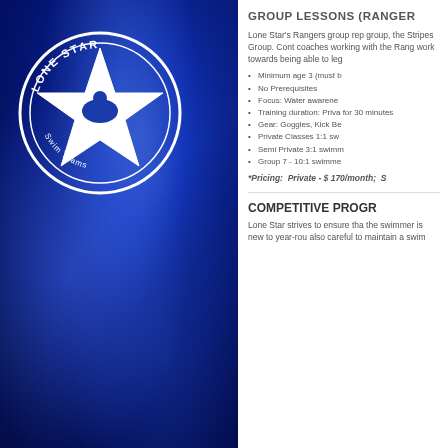[Figure (logo): Lone Star Swim Teams circular logo with white star and swimmer silhouette on blue swirling background]
GROUP LESSONS (RANGER
Lone Star's Rangers group rep group, the Stripes Group. Cont coaches working with the Rang work towards being able to leg
Minimum age 3 (must b
No Prerequisites
Focus: Water awarene
Training duration: Priva for 30 minutes
Gear: Goggles, Kick Be
Private Classes 1:1 sw
Semi Private 3:1 swimm
Group 7 - 10:1 swimme
*Pricing: Private - $ 170/month; S
COMPETITIVE PROGR
Lone Star strives to ensure tha the swimmer is new to year-rou also careful to maintain a swim